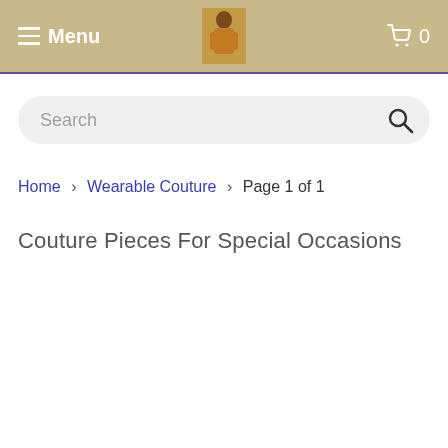Menu  0
Search
Home > Wearable Couture > Page 1 of 1
Couture Pieces For Special Occasions